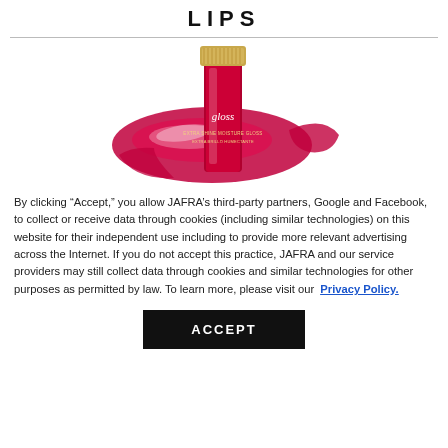LIPS
[Figure (photo): A red lip gloss tube with gold cap, standing upright, with a red glossy swipe of product behind it, branded 'gloss' with text reading 'Extra Shine Moisture Gloss / Extra Brillo Humectante'.]
By clicking “Accept,” you allow JAFRA’s third-party partners, Google and Facebook, to collect or receive data through cookies (including similar technologies) on this website for their independent use including to provide more relevant advertising across the Internet. If you do not accept this practice, JAFRA and our service providers may still collect data through cookies and similar technologies for other purposes as permitted by law. To learn more, please visit our Privacy Policy.
ACCEPT